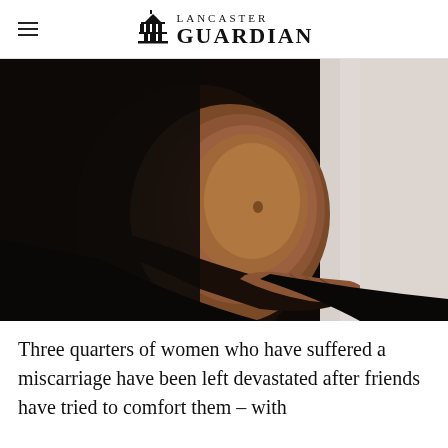LANCASTER GUARDIAN
[Figure (photo): Close-up photo of a pregnant woman in a black dress holding her belly, dark moody lighting against a light background]
Three quarters of women who have suffered a miscarriage have been left devastated after friends have tried to comfort them – with